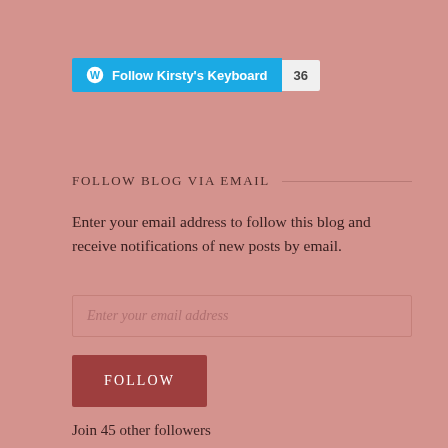[Figure (other): WordPress Follow button showing 'Follow Kirsty's Keyboard' in cyan/blue with WP logo, and a follower count badge showing 36]
FOLLOW BLOG VIA EMAIL
Enter your email address to follow this blog and receive notifications of new posts by email.
Enter your email address
FOLLOW
Join 45 other followers
RECENT POSTS